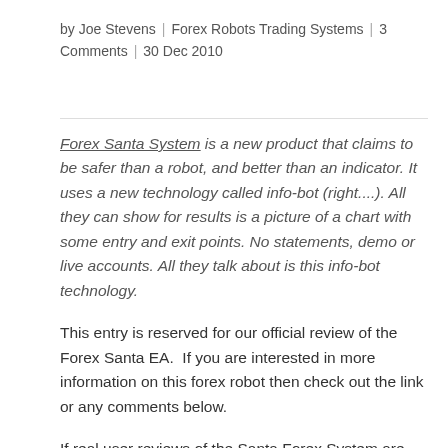by Joe Stevens | Forex Robots Trading Systems | 3 Comments | 30 Dec 2010
Forex Santa System is a new product that claims to be safer than a robot, and better than an indicator. It uses a new technology called info-bot (right....). All they can show for results is a picture of a chart with some entry and exit points. No statements, demo or live accounts. All they talk about is this info-bot technology.
This entry is reserved for our official review of the Forex Santa EA.  If you are interested in more information on this forex robot then check out the link or any comments below.
If real user reviews of the Santa Forex System are what you are looking for, then check the comments below. They are real customer experiences with this